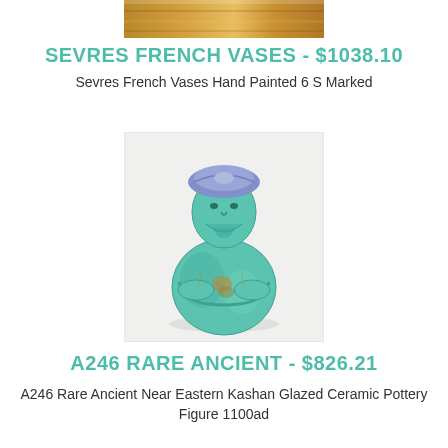[Figure (photo): Partial top image of Sevres French Vases, showing wooden/orange surface]
SEVRES FRENCH VASES - $1038.10
Sevres French Vases Hand Painted 6 S Marked
[Figure (photo): Ancient Near Eastern Kashan glazed ceramic pottery figure, turquoise/teal colored human bust with blue hat/turban, arms crossed, dated 1100ad]
A246 RARE ANCIENT - $826.21
A246 Rare Ancient Near Eastern Kashan Glazed Ceramic Pottery Figure 1100ad